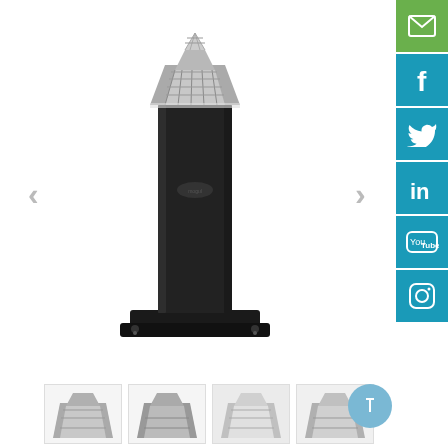[Figure (photo): Solar bollard / post light product photo on white background. A tall black square-section post with a solar panel pyramid top, mounted on a square base plate with corner bolt holes.]
[Figure (infographic): Social media sharing sidebar on the right: email (green), Facebook (teal), Twitter (teal), LinkedIn (teal), YouTube (teal), Instagram (teal) icon buttons stacked vertically.]
[Figure (photo): Four small thumbnail images at the bottom showing different views of the solar bollard light's pyramid top panel.]